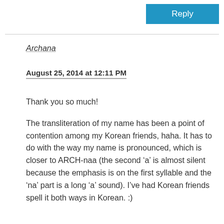Reply
Archana
August 25, 2014 at 12:11 PM
Thank you so much!
The transliteration of my name has been a point of contention among my Korean friends, haha. It has to do with the way my name is pronounced, which is closer to ARCH-naa (the second ‘a’ is almost silent because the emphasis is on the first syllable and the ‘na’ part is a long ‘a’ sound). I’ve had Korean friends spell it both ways in Korean. :)